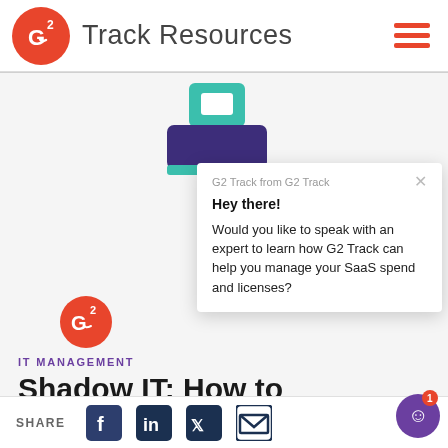Track Resources
[Figure (illustration): Printer icon illustration with teal and dark purple colors]
G2 Track from G2 Track
Hey there!
Would you like to speak with an expert to learn how G2 Track can help you manage your SaaS spend and licenses?
IT MANAGEMENT
Shadow IT: How to
SHARE